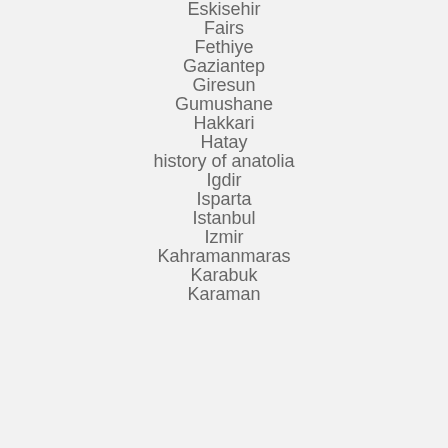Eskisehir
Fairs
Fethiye
Gaziantep
Giresun
Gumushane
Hakkari
Hatay
history of anatolia
Igdir
Isparta
Istanbul
Izmir
Kahramanmaras
Karabuk
Karaman